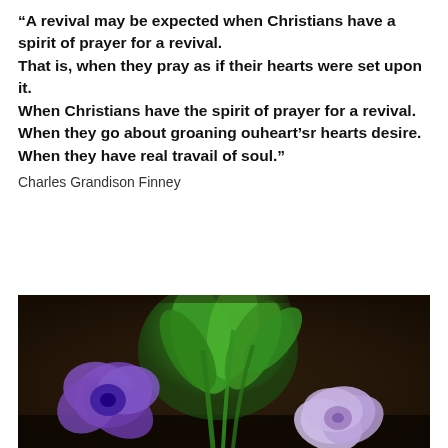“A revival may be expected when Christians have a spirit of prayer for a revival. That is, when they pray as if their hearts were set upon it. When Christians have the spirit of prayer for a revival. When they go about groaning ouheart’sr hearts desire. When they have real travail of soul.”
Charles Grandison Finney
[Figure (photo): Close-up photograph of purple/lavender petunia or similar flowers with bright green leaves and stems against a dark soil background.]